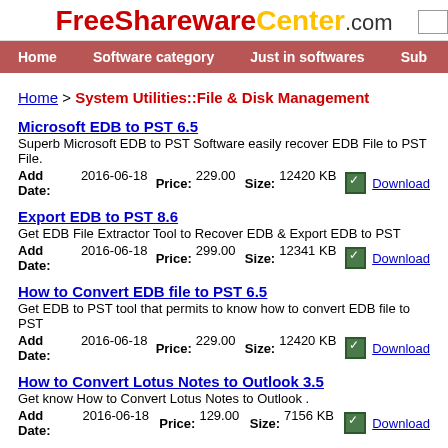FreeSharewareCenter.com
Home | Software category | Just in softwares | Sub
Home > System Utilities::File & Disk Management
Microsoft EDB to PST 6.5
Superb Microsoft EDB to PST Software easily recover EDB File to PST File.
Add Date:2016-06-18  Price: 229.00  Size: 12420 KB  Download
Export EDB to PST 8.6
Get EDB File Extractor Tool to Recover EDB & Export EDB to PST
Add Date:2016-06-18  Price: 299.00  Size: 12341 KB  Download
How to Convert EDB file to PST 6.5
Get EDB to PST tool that permits to know how to convert EDB file to PST
Add Date:2016-06-18  Price: 229.00  Size: 12420 KB  Download
How to Convert Lotus Notes to Outlook 3.5
Get know How to Convert Lotus Notes to Outlook .
Add Date:2016-06-18  Price: 129.00  Size: 7156 KB  Download
Recover OST to PST 7.0
Use OST to PST Software that fix OST file & Recover OST to PST File.
Add Date:2016-06-18  Price: 99.00  Size: 14958 KB  Download